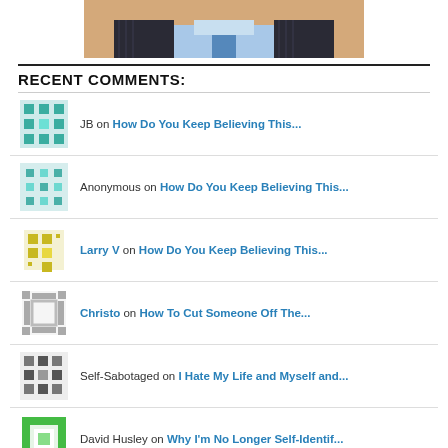[Figure (photo): Partial portrait photo of a man in a suit and blue shirt, cropped at the top of the page]
RECENT COMMENTS:
JB on How Do You Keep Believing This...
Anonymous on How Do You Keep Believing This...
Larry V on How Do You Keep Believing This...
Christo on How To Cut Someone Off The...
Self-Sabotaged on I Hate My Life and Myself and...
David Husley on Why I'm No Longer Self-Identif...
Sarah on How To Cut Someone Off The...